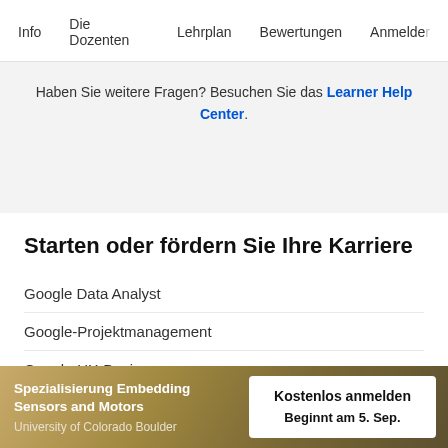Info   Die Dozenten   Lehrplan   Bewertungen   Anmelden
Haben Sie weitere Fragen? Besuchen Sie das Learner Help Center.
Starten oder fördern Sie Ihre Karriere
Google Data Analyst
Google-Projektmanagement
Google-UX-Design
Google IT-Support
Spezialisierung Embedding Sensors and Motors
University of Colorado Boulder
Kostenlos anmelden
Beginnt am 5. Sep.